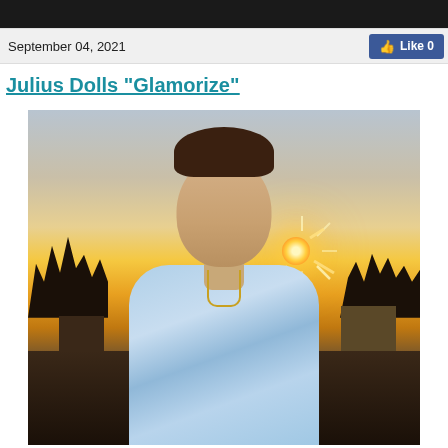[Figure (photo): Black banner/header bar at top of web page]
September 04, 2021
Julius Dolls "Glamorize"
[Figure (photo): Young man with tousled brown hair wearing a light blue tie-dye shirt with a necklace, photographed outdoors at sunset with trees and buildings silhouetted in the background]